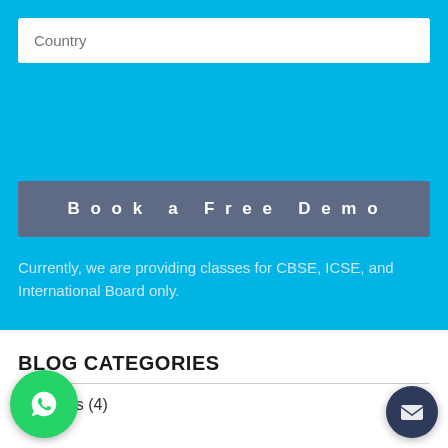[Figure (screenshot): Country text input field on a cyan/blue background]
[Figure (screenshot): Book a Free Demo button on cyan background]
Currently, we are providing classes for CBSE, ICSE, and International Board only.
BLOG CATEGORIES
Accounts (4)
[Figure (logo): WhatsApp floating circular button at bottom left]
[Figure (logo): Mail/envelope floating circular button at bottom right]